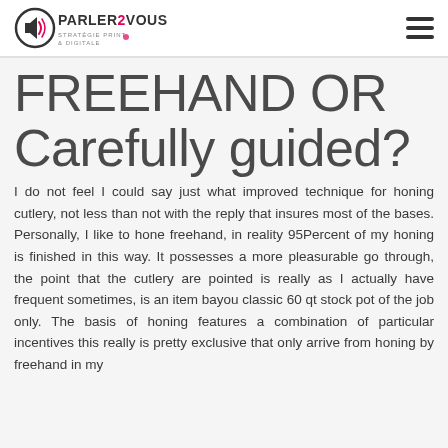PARLER2VOUS STRATÉGIE PRINT & DIGITALE
FREEHAND OR Carefully guided?
I do not feel I could say just what improved technique for honing cutlery, not less than not with the reply that insures most of the bases. Personally, I like to hone freehand, in reality 95Percent of my honing is finished in this way. It possesses a more pleasurable go through, the point that the cutlery are pointed is really as I actually have frequent sometimes, is an item bayou classic 60 qt stock pot of the job only. The basis of honing features a combination of particular incentives this really is pretty exclusive that only arrive from honing by freehand in my